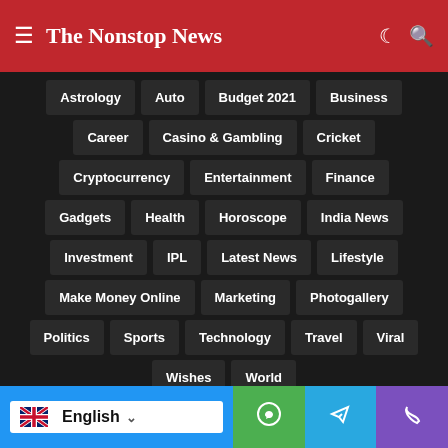The Nonstop News
Astrology
Auto
Budget 2021
Business
Career
Casino & Gambling
Cricket
Cryptocurrency
Entertainment
Finance
Gadgets
Health
Horoscope
India News
Investment
IPL
Latest News
Lifestyle
Make Money Online
Marketing
Photogallery
Politics
Sports
Technology
Travel
Viral
Wishes
World
English | WhatsApp | Telegram | Phone